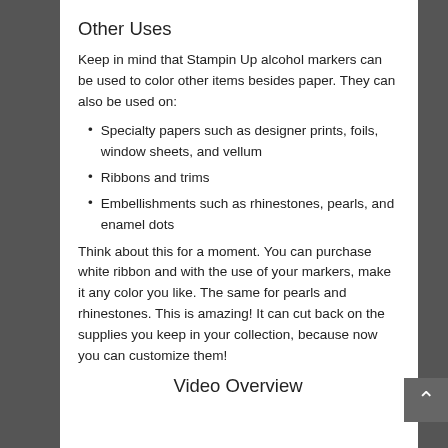Other Uses
Keep in mind that Stampin Up alcohol markers can be used to color other items besides paper. They can also be used on:
Specialty papers such as designer prints, foils, window sheets, and vellum
Ribbons and trims
Embellishments such as rhinestones, pearls, and enamel dots
Think about this for a moment. You can purchase white ribbon and with the use of your markers, make it any color you like. The same for pearls and rhinestones. This is amazing! It can cut back on the supplies you keep in your collection, because now you can customize them!
Video Overview